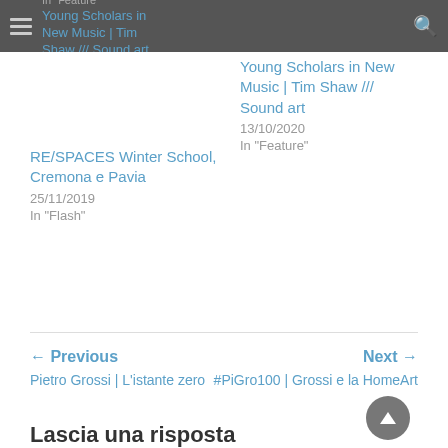Young Scholars in New Music | Tim Shaw /// Sound art — 13/10/2020 — In "Feature"
Young Scholars in New Music | Tim Shaw /// Sound art
13/10/2020
In "Feature"
RE/SPACES Winter School, Cremona e Pavia
25/11/2019
In "Flash"
← Previous
Pietro Grossi | L'istante zero
Next →
#PiGro100 | Grossi e la HomeArt
Lascia una risposta